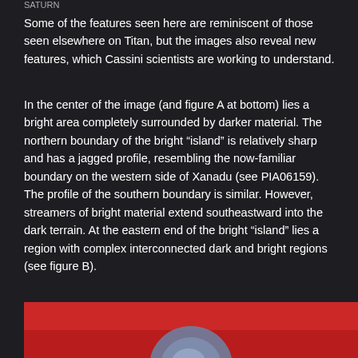SATURN
Some of the features seen here are reminiscent of those seen elsewhere on Titan, but the images also reveal new features, which Cassini scientists are working to understand.
In the center of the image (and figure A at bottom) lies a bright area completely surrounded by darker material. The northern boundary of the bright “island” is relatively sharp and has a jagged profile, resembling the now-familiar boundary on the western side of Xanadu (see PIA06159). The profile of the southern boundary is similar. However, streamers of bright material extend southeastward into the dark terrain. At the eastern end of the bright “island” lies a region with complex interconnected dark and bright regions (see figure B).
[Figure (photo): Bottom portion of a planetary surface image showing reddish/pink terrain with a partial view of a bright blue-grey circular feature, likely Titan's surface as imaged by Cassini.]